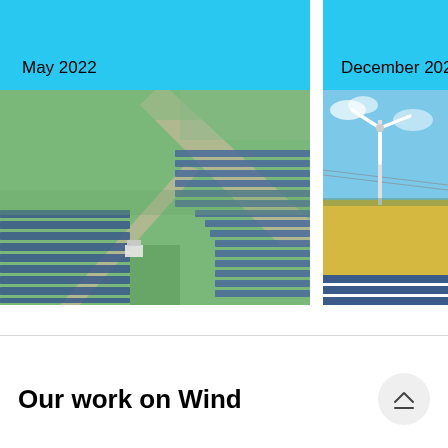[Figure (photo): Aerial view of a large solar panel farm with green grass paths, May 2022]
[Figure (photo): Wind turbine standing in yellow field with solar panels visible, December 2022 (partially cropped)]
Our work on Wind